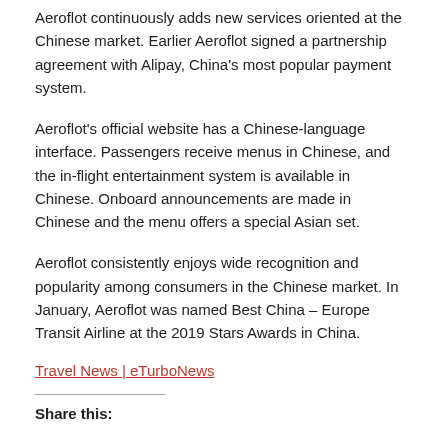Aeroflot continuously adds new services oriented at the Chinese market. Earlier Aeroflot signed a partnership agreement with Alipay, China's most popular payment system.
Aeroflot's official website has a Chinese-language interface. Passengers receive menus in Chinese, and the in-flight entertainment system is available in Chinese. Onboard announcements are made in Chinese and the menu offers a special Asian set.
Aeroflot consistently enjoys wide recognition and popularity among consumers in the Chinese market. In January, Aeroflot was named Best China – Europe Transit Airline at the 2019 Stars Awards in China.
Travel News | eTurboNews
Share this: